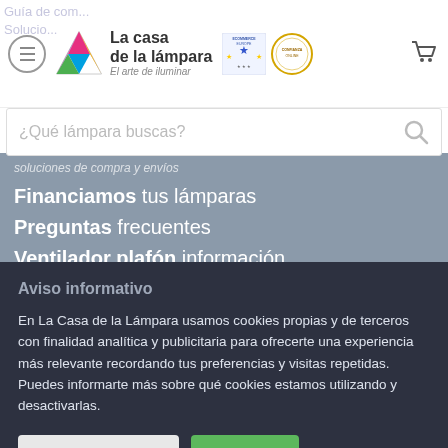[Figure (logo): La casa de la lámpara logo with colorful triangle icon and text 'La casa de la lámpara - El arte de iluminar', plus ecommerce Europe and Confianza Online badges]
¿Qué lámpara buscas?
Soluciones de compra y envíos
Financiamos tus lámparas
Preguntas frecuentes
Ventilador plafón información
Últimas promociones
Aviso informativo
En La Casa de la Lámpara usamos cookies propias y de terceros con finalidad analítica y publicitaria para ofrecerte una experiencia más relevante recordando tus preferencias y visitas repetidas. Puedes informarte más sobre qué cookies estamos utilizando y desactivarlas.
Configurar cookies | Aceptar